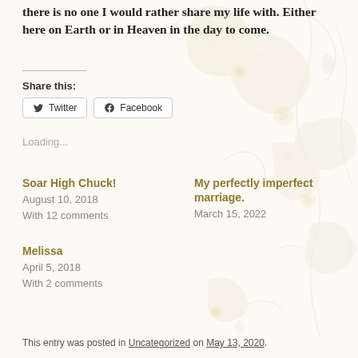there is no one I would rather share my life with. Either here on Earth or in Heaven in the day to come.
Share this:
Twitter
Facebook
Loading...
Soar High Chuck!
August 10, 2018
With 12 comments
My perfectly imperfect marriage.
March 15, 2022
Melissa
April 5, 2018
With 2 comments
This entry was posted in Uncategorized on May 13, 2020.